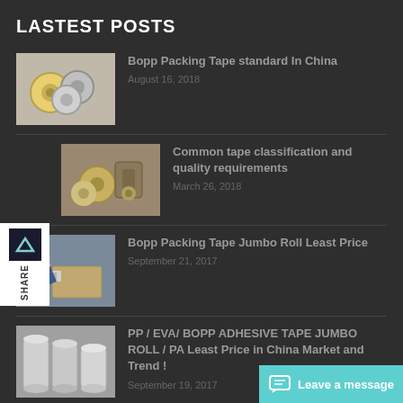LASTEST POSTS
[Figure (photo): Thumbnail photo of BOPP packing tape rolls]
Bopp Packing Tape standard In China
August 16, 2018
[Figure (photo): Thumbnail photo of tape dispensers and rolls]
Common tape classification and quality requirements
March 26, 2018
[Figure (photo): Thumbnail photo of person applying packing tape]
Bopp Packing Tape Jumbo Roll Least Price
September 21, 2017
[Figure (photo): Thumbnail photo of large adhesive tape jumbo rolls]
PP / EVA/ BOPP ADHESIVE TAPE JUMBO ROLL / PA Least Price in China Market and Trend !
September 19, 2017